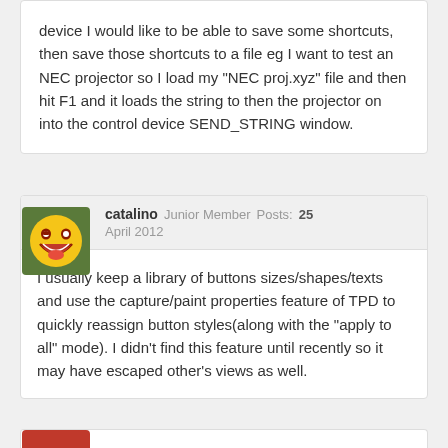device I would like to be able to save some shortcuts, then save those shortcuts to a file eg I want to test an NEC projector so I load my "NEC proj.xyz" file and then hit F1 and it loads the string to then the projector on into the control device SEND_STRING window.
[Figure (illustration): Forum avatar: emoji face with big grin on green background]
catalino Junior Member Posts: 25 April 2012
I usually keep a library of buttons sizes/shapes/texts and use the capture/paint properties feature of TPD to quickly reassign button styles(along with the "apply to all" mode). I didn't find this feature until recently so it may have escaped other's views as well.